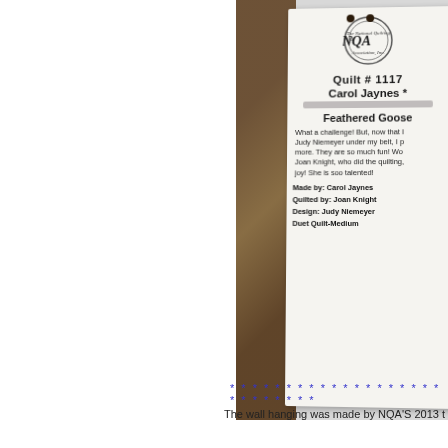[Figure (photo): A quilt show entry tag/label card photographed at an angle, showing NQA logo, quilt number 1117, maker Carol Jaynes, quilt title Feathered Goose, description text, and credits for maker, quilter, designer, and category. Left side shows quilt fabric in brown/tan pattern.]
Quilt # 1117
Carol Jaynes *
Feathered Goose
What a challenge! But, now that I have a Judy Niemeyer under my belt, I plan to make more. They are so much fun!  Working with Joan Knight, who did the quilting, was such joy! She is soo talented!
Made by: Carol  Jaynes
Quilted by: Joan Knight
Design: Judy Niemeyer
Duet Quilt-Medium
* * * * * * * * * * * * * * * * * * * * * * * * * * * *
The wall hanging was made by NQA'S 2013 t